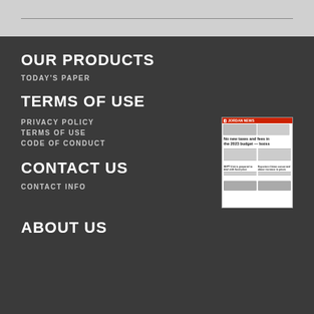OUR PRODUCTS
TODAY'S PAPER
TERMS OF USE
PRIVACY POLICY
TERMS OF USE
CODE OF CONDUCT
CONTACT US
[Figure (other): Jordan News newspaper front page thumbnail showing 'No new taxes and fees in the 2023 budget — Ississ' headline]
CONTACT INFO
ABOUT US